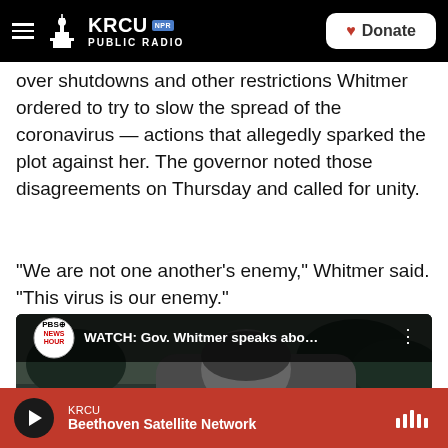KRCU NPR PUBLIC RADIO | Donate
over shutdowns and other restrictions Whitmer ordered to try to slow the spread of the coronavirus — actions that allegedly sparked the plot against her. The governor noted those disagreements on Thursday and called for unity.
"We are not one another's enemy," Whitmer said. "This virus is our enemy."
[Figure (screenshot): Embedded YouTube video from PBS NewsHour: 'WATCH: Gov. Whitmer speaks abo...' with a thumbnail showing a woman's face and a red play button.]
KRCU | Beethoven Satellite Network